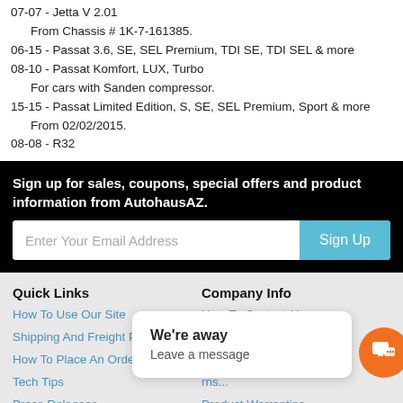07-07 - Jetta V 2.01
From Chassis # 1K-7-161385.
06-15 - Passat 3.6, SE, SEL Premium, TDI SE, TDI SEL & more
08-10 - Passat Komfort, LUX, Turbo
For cars with Sanden compressor.
15-15 - Passat Limited Edition, S, SE, SEL Premium, Sport & more
From 02/02/2015.
08-08 - R32
Sign up for sales, coupons, special offers and product information from AutohausAZ.
Enter Your Email Address
Sign Up
Quick Links
How To Use Our Site
Shipping And Freight Policy
How To Place An Order
Tech Tips
Press Releases
Company Info
How To Contact Us
About Autohaus
We're away
Leave a message